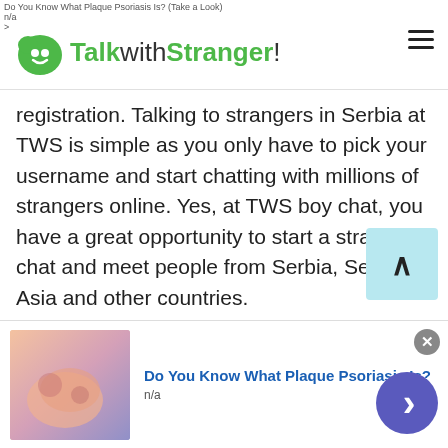Do You Know What Plaque Psoriasis Is? (Take a Look)
n/a
>
TalkwithStranger!
registration. Talking to strangers in Serbia at TWS is simple as you only have to pick your username and start chatting with millions of strangers online. Yes, at TWS boy chat, you have a great opportunity to start a stranger chat and meet people from Serbia, Serbia, Asia and other countries.
One-to-one private boys chat helps boys to spend a great time with their friends and family. They can choose to talk to strangers in Serbia on their favorite topics and have a healthy discussion without experiencing any signup hassle. Yes, you will not
[Figure (screenshot): Scroll to top button with upward caret on light blue background]
[Figure (screenshot): Advertisement banner: Do You Know What Plaque Psoriasis Is? with skin image, n/a label, close button, and blue arrow button]